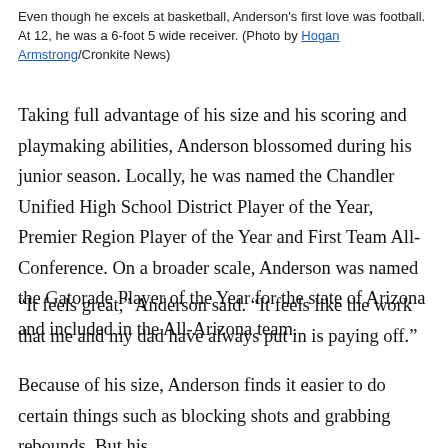Even though he excels at basketball, Anderson's first love was football. At 12, he was a 6-foot 5 wide receiver. (Photo by Hogan Armstrong/Cronkite News)
Taking full advantage of his size and his scoring and playmaking abilities, Anderson blossomed during his junior season. Locally, he was named the Chandler Unified High School District Player of the Year, Premier Region Player of the Year and First Team All-Conference. On a broader scale, Anderson was named the Gatorade Player of the Year for the state of Arizona and included in the All-Arizona team.
“It feels great,” Anderson said. “It feels like the work that me and my dad have always put in is paying off.”
Because of his size, Anderson finds it easier to do certain things such as blocking shots and grabbing rebounds. But his